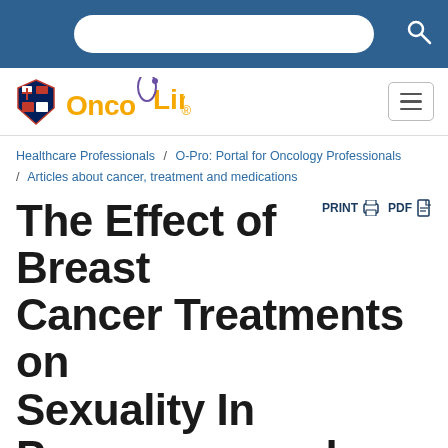OncoLink — top navigation bar with search
[Figure (logo): OncoLink logo with Penn shield and yellow text]
Healthcare Professionals / O-Pro: Portal for Oncology Professionals / Articles about cancer, treatment and medications
The Effect of Breast Cancer Treatments on Sexuality In Premenopausal